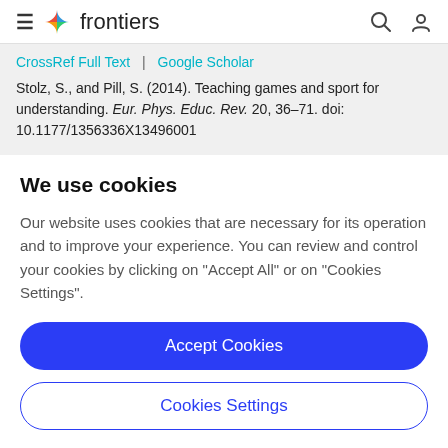frontiers
CrossRef Full Text | Google Scholar
Stolz, S., and Pill, S. (2014). Teaching games and sport for understanding. Eur. Phys. Educ. Rev. 20, 36–71. doi: 10.1177/1356336X13496001
We use cookies
Our website uses cookies that are necessary for its operation and to improve your experience. You can review and control your cookies by clicking on "Accept All" or on "Cookies Settings".
Accept Cookies
Cookies Settings